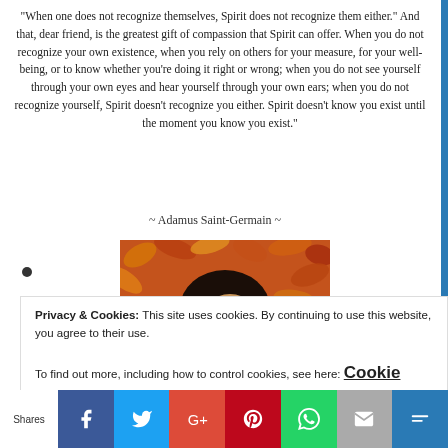"When one does not recognize themselves, Spirit does not recognize them either." And that, dear friend, is the greatest gift of compassion that Spirit can offer. When you do not recognize your own existence, when you rely on others for your measure, for your well-being, or to know whether you're doing it right or wrong; when you do not see yourself through your own eyes and hear yourself through your own ears; when you do not recognize yourself, Spirit doesn't recognize you either. Spirit doesn't know you exist until the moment you know you exist."
~ Adamus Saint-Germain ~
[Figure (photo): A person lying among autumn leaves, eyes closed, resting peacefully on a bed of red, orange, and yellow fall leaves.]
Privacy & Cookies: This site uses cookies. By continuing to use this website, you agree to their use.
To find out more, including how to control cookies, see here: Cookie Policy
Shares | Facebook | Twitter | Google+ | Pinterest | WhatsApp | Email | More